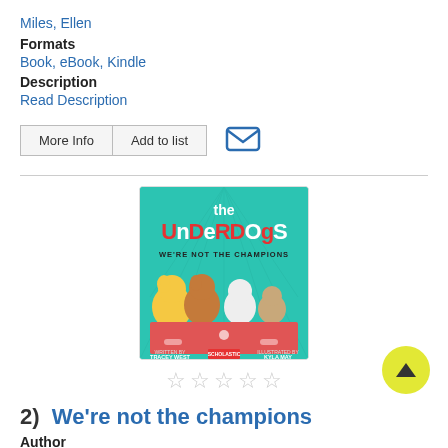Miles, Ellen
Formats
Book, eBook, Kindle
Description
Read Description
[Figure (illustration): Book cover for 'The Underdogs: We're Not the Champions' by Tracey West, illustrated by Kyla May. Published by Scholastic. Teal background with cartoon dogs.]
2)  We're not the champions
Author